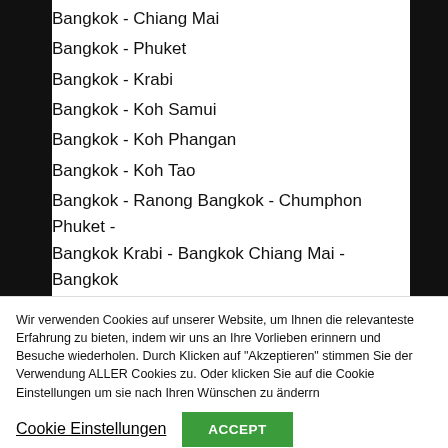Bangkok - Chiang Mai
Bangkok - Phuket
Bangkok - Krabi
Bangkok - Koh Samui
Bangkok - Koh Phangan
Bangkok - Koh Tao
Bangkok - Ranong Bangkok - Chumphon Phuket - Bangkok Krabi - Bangkok Chiang Mai - Bangkok Chumphon - Bangkok Koh Samui - Koh Phi Phi
Bangkok - Pattaya
Wir verwenden Cookies auf unserer Website, um Ihnen die relevanteste Erfahrung zu bieten, indem wir uns an Ihre Vorlieben erinnern und Besuche wiederholen. Durch Klicken auf "Akzeptieren" stimmen Sie der Verwendung ALLER Cookies zu. Oder klicken Sie auf die Cookie Einstellungen um sie nach Ihren Wünschen zu änderrn
Cookie Einstellungen
ACCEPT